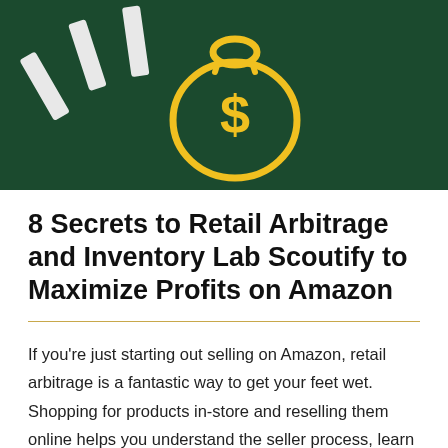[Figure (photo): Dark green background with a yellow outlined money bag icon with a dollar sign in the center, and white rectangular chalk-like objects (erasers or chalk) in the upper left corner.]
8 Secrets to Retail Arbitrage and Inventory Lab Scoutify to Maximize Profits on Amazon
If you’re just starting out selling on Amazon, retail arbitrage is a fantastic way to get your feet wet. Shopping for products in-store and reselling them online helps you understand the seller process, learn to interpret Amazon data, and get some great seller feedback under your belt. But if you’re brand new, walking into a store and figuring out what’s profitable and